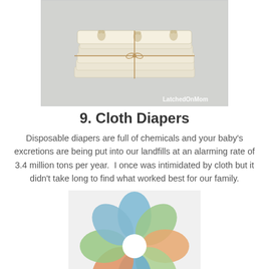[Figure (photo): Stack of cloth diapers with teddy bear print, tied with string. Watermark reads 'LatchedOnMom'.]
9. Cloth Diapers
Disposable diapers are full of chemicals and your baby's excretions are being put into our landfills at an alarming rate of 3.4 million tons per year.  I once was intimidated by cloth but it didn't take long to find what worked best for our family.
[Figure (photo): Colorful cloth diapers in blue, green, and orange arranged in a circular pinwheel pattern on a white background.]